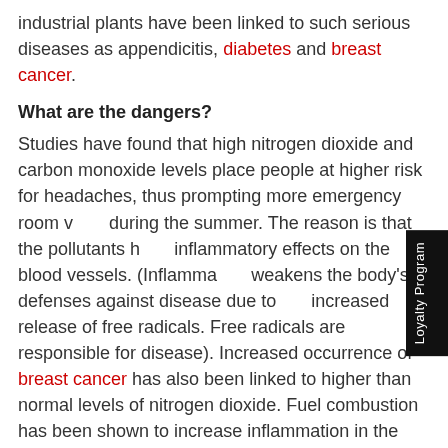industrial plants have been linked to such serious diseases as appendicitis, diabetes and breast cancer.
What are the dangers?
Studies have found that high nitrogen dioxide and carbon monoxide levels place people at higher risk for headaches, thus prompting more emergency room visits during the summer. The reason is that the pollutants have inflammatory effects on the blood vessels. (Inflammation weakens the body's defenses against disease due to the increased release of free radicals. Free radicals are responsible for disease). Increased occurrence of breast cancer has also been linked to higher than normal levels of nitrogen dioxide. Fuel combustion has been shown to increase inflammation in the body with cases of appendicitis being linked to this pollutant. Blood pressure